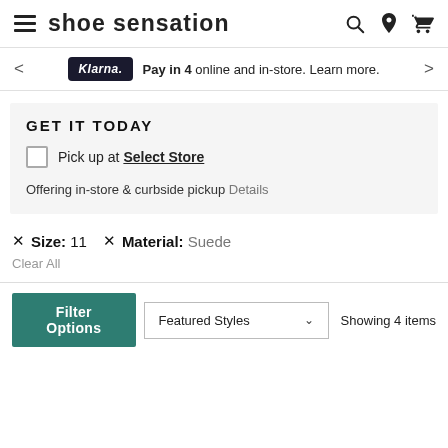Shoe Sensation
Klarna. Pay in 4 online and in-store. Learn more.
GET IT TODAY
Pick up at Select Store
Offering in-store & curbside pickup Details
× Size: 11  × Material: Suede
Clear All
Filter Options  Featured Styles  Showing 4 items